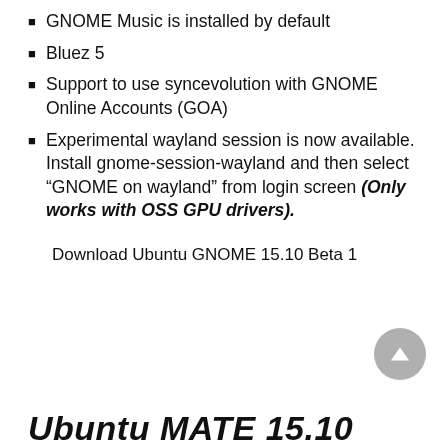GNOME Music is installed by default
Bluez 5
Support to use syncevolution with GNOME Online Accounts (GOA)
Experimental wayland session is now available. Install gnome-session-wayland and then select “GNOME on wayland” from login screen (Only works with OSS GPU drivers).
Download Ubuntu GNOME 15.10 Beta 1
Ubuntu MATE 15.10